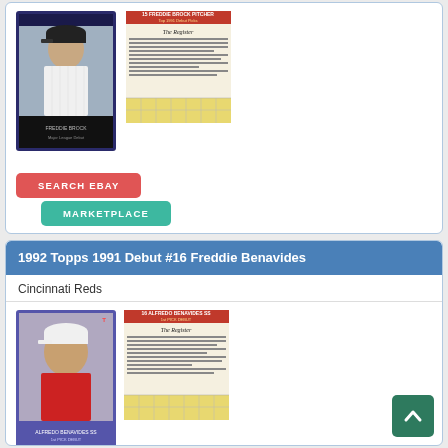[Figure (photo): Baseball card front showing player in white pinstripe uniform]
[Figure (photo): Baseball card back with stats and text]
SEARCH EBAY
MARKETPLACE
1992 Topps 1991 Debut #16 Freddie Benavides
Cincinnati Reds
[Figure (photo): Baseball card front showing player in Cincinnati Reds uniform]
[Figure (photo): Baseball card back with stats and text]